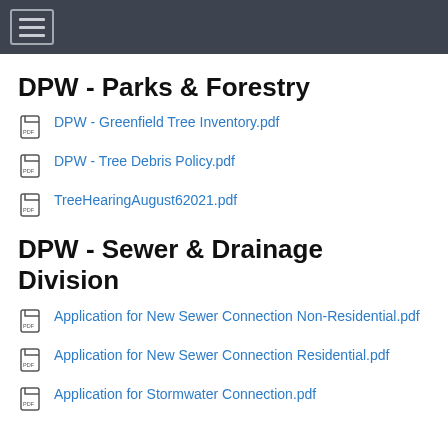DPW - Parks & Forestry
DPW - Greenfield Tree Inventory.pdf
DPW - Tree Debris Policy.pdf
TreeHearingAugust62021.pdf
DPW - Sewer & Drainage Division
Application for New Sewer Connection Non-Residential.pdf
Application for New Sewer Connection Residential.pdf
Application for Stormwater Connection.pdf